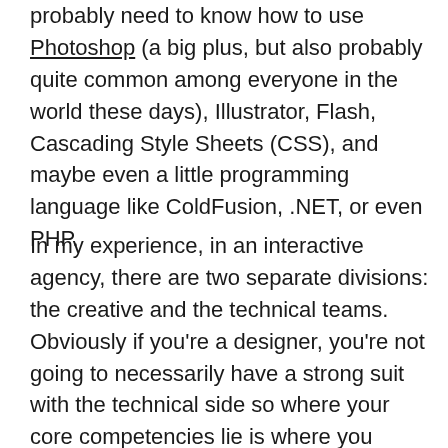probably need to know how to use Photoshop (a big plus, but also probably quite common among everyone in the world these days), Illustrator, Flash, Cascading Style Sheets (CSS), and maybe even a little programming language like ColdFusion, .NET, or even PHP.
In my experience, in an interactive agency, there are two separate divisions: the creative and the technical teams. Obviously if you're a designer, you're not going to necessarily have a strong suit with the technical side so where your core competencies lie is where you should be. You're creative? Great, go stand